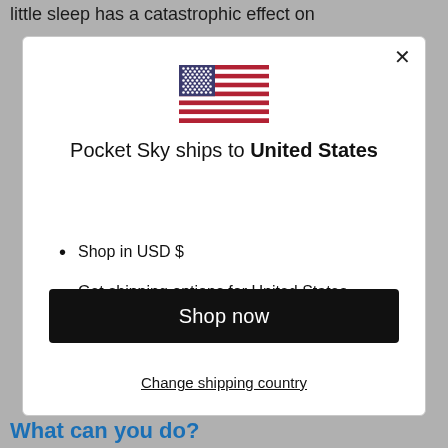little sleep has a catastrophic effect on
[Figure (illustration): US flag SVG illustration]
Pocket Sky ships to United States
Shop in USD $
Get shipping options for United States
Shop now
Change shipping country
What can you do?